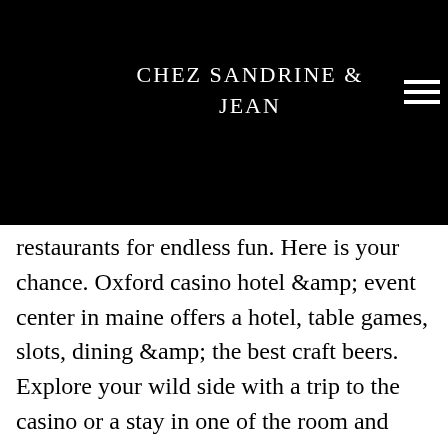CHEZ SANDRINE & JEAN
restaurants for endless fun. Here is your chance. Oxford casino hotel &amp; event center in maine offers a hotel, table games, slots, dining &amp; the best craft beers. Explore your wild side with a trip to the casino or a stay in one of the room and suites at hard rock hotels around the world. Escape to the ultimate southern california entertainment destination with thrilling casino gaming, finely crafted cuisine and comfortable deluxe hotel As such, Norway may, in fact, hold on to its gambling monopoly position for as long as it deems fit. How to start a legal gambling business in 5 simple steps. How to start a legal gambling business? The